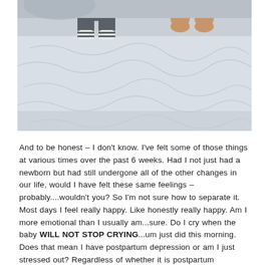[Figure (photo): Photo of two young children (a baby in grey clothes with striped socks and a toddler) sitting on a white textured bed/quilt, photographed from waist down showing their legs and feet.]
And to be honest – I don't know. I've felt some of those things at various times over the past 6 weeks. Had I not just had a newborn but had still undergone all of the other changes in our life, would I have felt these same feelings – probably....wouldn't you? So I'm not sure how to separate it. Most days I feel really happy. Like honestly really happy. Am I more emotional than I usually am...sure. Do I cry when the baby WILL NOT STOP CRYING...um just did this morning. Does that mean I have postpartum depression or am I just stressed out? Regardless of whether it is postpartum depression or stress, it is starting to get harder for me to manage. Some of my friends have suggested to me about possibly taking